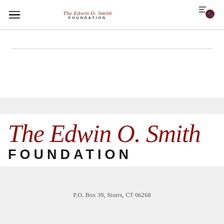The Edwin O. Smith FOUNDATION
The Edwin O. Smith FOUNDATION
P.O. Box 39, Storrs, CT 06268